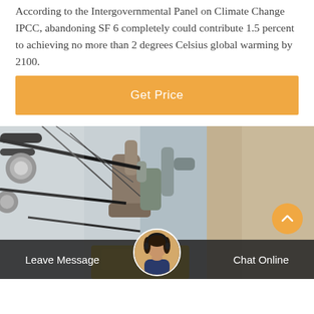According to the Intergovernmental Panel on Climate Change IPCC, abandoning SF 6 completely could contribute 1.5 percent to achieving no more than 2 degrees Celsius global warming by 2100.
[Figure (other): Orange 'Get Price' call-to-action button bar]
[Figure (photo): Close-up photo of industrial electrical equipment with cables, metal fittings, pipes and machinery components; a person in a beige jacket is partially visible on the right]
Leave Message   Chat Online